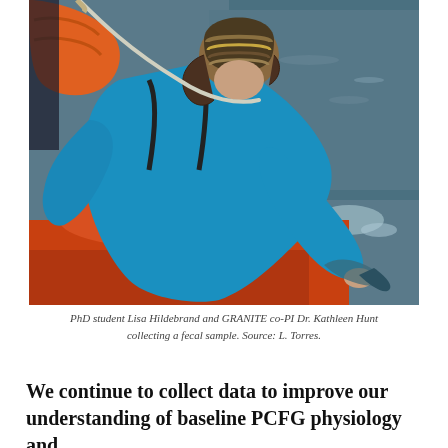[Figure (photo): Photograph of a PhD student in a blue jacket and striped beanie hat leaning over the side of an orange inflatable boat to collect a fecal sample from the ocean water. Another person in an orange life jacket is visible in the background holding a rope.]
PhD student Lisa Hildebrand and GRANITE co-PI Dr. Kathleen Hunt collecting a fecal sample. Source: L. Torres.
We continue to collect data to improve our understanding of baseline PCFG physiology and